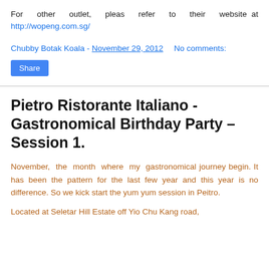For other outlet, pleas refer to their website at http://wopeng.com.sg/
Chubby Botak Koala - November 29, 2012   No comments:
Share
Pietro Ristorante Italiano - Gastronomical Birthday Party – Session 1.
November, the month where my gastronomical journey begin. It has been the pattern for the last few year and this year is no difference. So we kick start the yum yum session in Peitro.
Located at Seletar Hill Estate off Yio Chu Kang road,